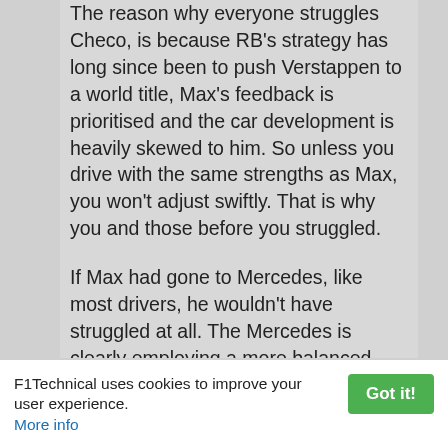The reason why everyone struggles Checo, is because RB's strategy has long since been to push Verstappen to a world title, Max's feedback is prioritised and the car development is heavily skewed to him. So unless you drive with the same strengths as Max, you won't adjust swiftly. That is why you and those before you struggled.
If Max had gone to Mercedes, like most drivers, he wouldn't have struggled at all. The Mercedes is clearly employing a more balanced philosophy of developing the car to both drivers. It has a larger window of driving style input techniques that work with it, so it's easier to adopt. I also think the team will more willingly build the car to you even if you aren't the favourite driver.
Now, if Max went to another team that developed their car to 1 driver as much as RB likes to, then
F1Technical uses cookies to improve your user experience. Got it! More info